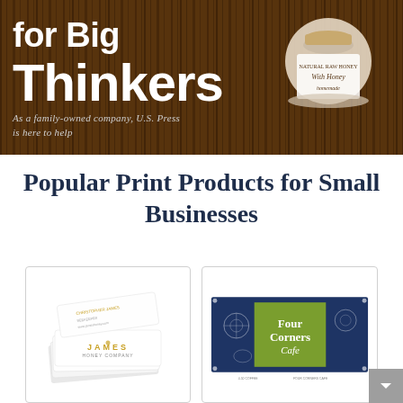[Figure (photo): Banner with wood texture background showing partial text 'for Big Thinkers' in white bold font, with a honey jar product image on the right, and subtitle text 'As a family-owned company, U.S. Press is here to help']
Popular Print Products for Small Businesses
[Figure (photo): Business card product photo showing stacked white business cards with 'JAMES HONEY COMPANY' gold foil text]
[Figure (photo): Vinyl banner product photo showing Four Corners Cafe banner with navy blue and green design]